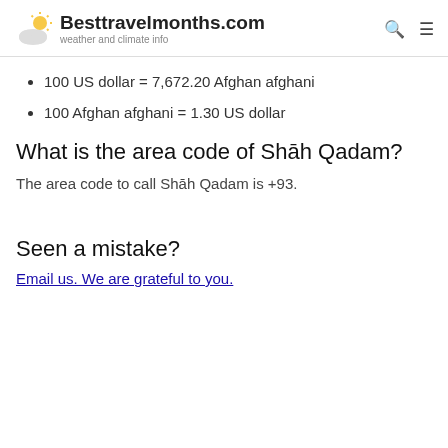Besttravelmonths.com — weather and climate info
100 US dollar = 7,672.20 Afghan afghani
100 Afghan afghani = 1.30 US dollar
What is the area code of Shāh Qadam?
The area code to call Shāh Qadam is +93.
Seen a mistake?
Email us. We are grateful to you.